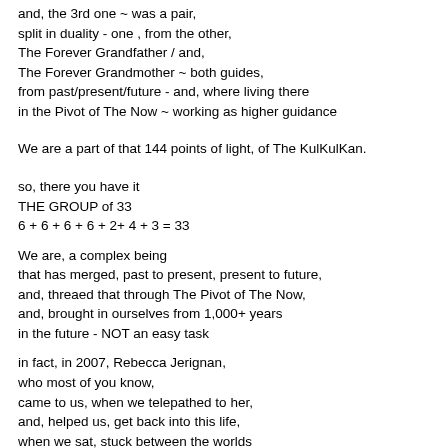and, the 3rd one ~ was a pair,
split in duality - one , from the other,
The Forever Grandfather / and,
The Forever Grandmother ~ both guides,
from past/present/future - and, where living there
in the Pivot of The Now ~ working as higher guidance
We are a part of that 144 points of light, of The KulKulKan.
so, there you have it
THE GROUP of 33
6 + 6 + 6 + 6 + 2+ 4 + 3 = 33
We are, a complex being
that has merged, past to present, present to future,
and, threaed that through The Pivot of The Now,
and, brought in ourselves from 1,000+ years
in the future - NOT an easy task
in fact, in 2007, Rebecca Jerignan,
who most of you know,
came to us, when we telepathed to her,
and, helped us, get back into this life,
when we sat, stuck between the worlds
in a NDE ~ which she can verify, as truth
WHAT WE HAVE TO SAY is NO JOKE ,
it is vital, and, very serious stuff
sometimes, we ponder, why most of you